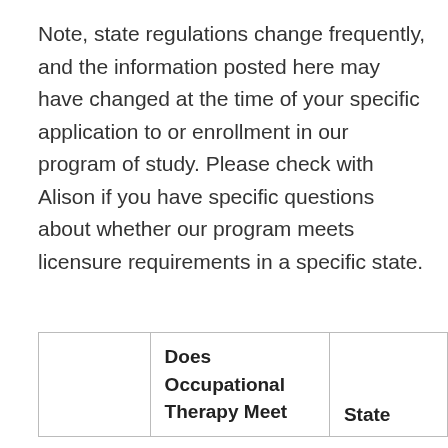Note, state regulations change frequently, and the information posted here may have changed at the time of your specific application to or enrollment in our program of study. Please check with Alison if you have specific questions about whether our program meets licensure requirements in a specific state.
|  | Does Occupational Therapy Meet ... | State |
| --- | --- | --- |